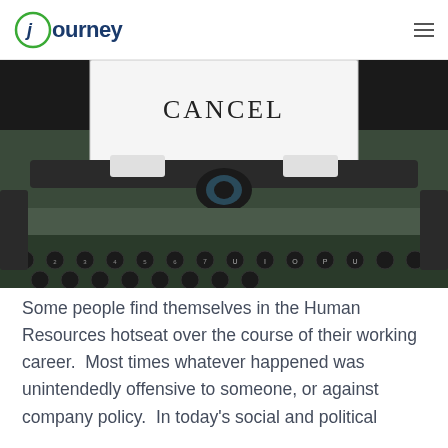journey
[Figure (photo): Close-up photograph of a vintage green typewriter with a white paper inserted showing the word CANCEL typed in capital letters. The typewriter keys and mechanical parts are visible in the foreground.]
Some people find themselves in the Human Resources hotseat over the course of their working career.  Most times whatever happened was unintendedly offensive to someone, or against company policy.  In today's social and political